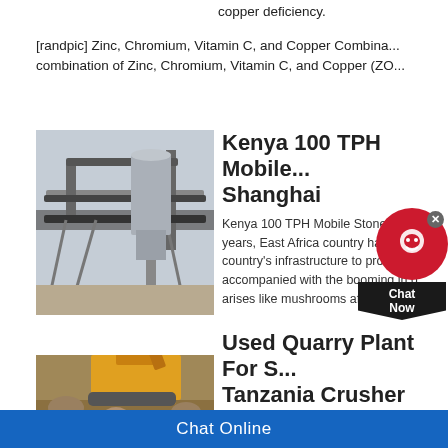copper deficiency.
[randpic] Zinc, Chromium, Vitamin C, and Copper Combina... combination of Zinc, Chromium, Vitamin C, and Copper (ZO...
Kenya 100 TPH Mobile ... Shanghai
[Figure (photo): Conveyor belt system at a stone crushing plant in Kenya]
Kenya 100 TPH Mobile Stone... years, East Africa country ha... country's infrastructure to promote t... accompanied with the booming in q... arises like mushrooms after rain, an...
Used Quarry Plant For S... Tanzania Crusher
[Figure (photo): Excavator working at a quarry plant/crusher site in Tanzania]
Used Quarry Plant For Sale In Ken... crusher equipment Used Quarry Pla...
Chat Online